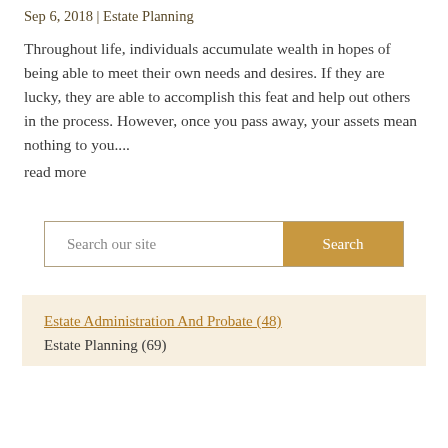Sep 6, 2018 | Estate Planning
Throughout life, individuals accumulate wealth in hopes of being able to meet their own needs and desires. If they are lucky, they are able to accomplish this feat and help out others in the process. However, once you pass away, your assets mean nothing to you....
read more
Search our site
Estate Administration And Probate (48)
Estate Planning (69)